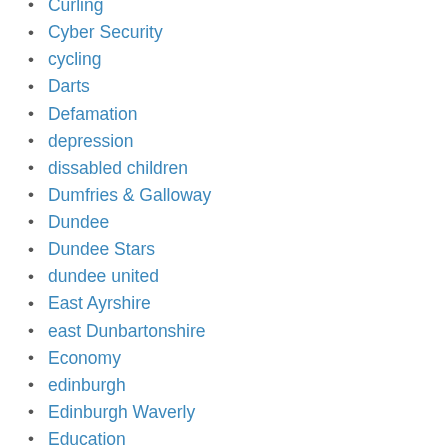Curling
Cyber Security
cycling
Darts
Defamation
depression
dissabled children
Dumfries & Galloway
Dundee
Dundee Stars
dundee united
East Ayrshire
east Dunbartonshire
Economy
edinburgh
Edinburgh Waverly
Education
Electric Vehicles
Empowering